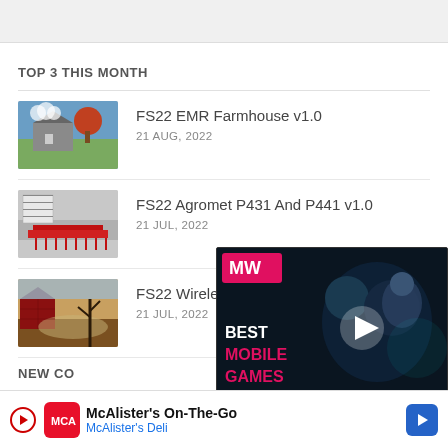TOP 3 THIS MONTH
FS22 EMR Farmhouse v1.0
21 AUG, 2022
FS22 Agromet P431 And P441 v1.0
21 JUL, 2022
FS22 Wireless High
21 JUL, 2022
[Figure (screenshot): Video ad overlay showing 'BEST MOBILE GAMES' with MW logo and game characters]
NEW CO
[Figure (screenshot): Bottom banner ad for McAlister's On-The-Go / McAlister's Deli]